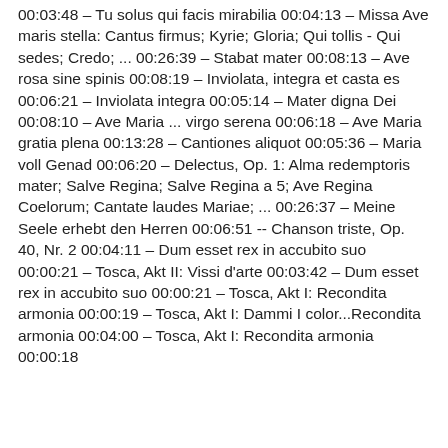00:03:48 – Tu solus qui facis mirabilia 00:04:13 – Missa Ave maris stella: Cantus firmus; Kyrie; Gloria; Qui tollis - Qui sedes; Credo; ... 00:26:39 – Stabat mater 00:08:13 – Ave rosa sine spinis 00:08:19 – Inviolata, integra et casta es 00:06:21 – Inviolata integra 00:05:14 – Mater digna Dei 00:08:10 – Ave Maria ... virgo serena 00:06:18 – Ave Maria gratia plena 00:13:28 – Cantiones aliquot 00:05:36 – Maria voll Genad 00:06:20 – Delectus, Op. 1: Alma redemptoris mater; Salve Regina; Salve Regina a 5; Ave Regina Coelorum; Cantate laudes Mariae; ... 00:26:37 – Meine Seele erhebt den Herren 00:06:51 -- Chanson triste, Op. 40, Nr. 2 00:04:11 – Dum esset rex in accubito suo 00:00:21 – Tosca, Akt II: Vissi d'arte 00:03:42 – Dum esset rex in accubito suo 00:00:21 – Tosca, Akt I: Recondita armonia 00:00:19 – Tosca, Akt I: Dammi I color...Recondita armonia 00:04:00 – Tosca, Akt I: Recondita armonia 00:00:18